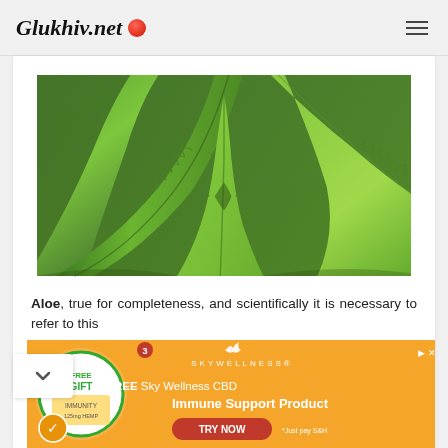Glukhiv.net
[Figure (photo): Close-up photo of green aloe vera plant leaves with serrated edges, showing thick succulent leaves overlapping each other.]
Aloe, true for completeness, and scientifically it is necessary to refer to this
[Figure (other): Advertisement banner for Sky Wellness CBD Immune Support Product with FREE GIFT offer. Orange background with product image, Skywellness logo, and TRY NOW button. Text: FREE Sky Wellness CBD Immune Support Product. Just pay S&H.]